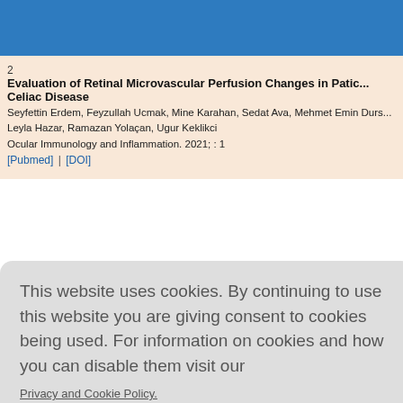Evaluation of Retinal Microvascular Perfusion Changes in Patients with Celiac Disease. Seyfettin Erdem, Feyzullah Ucmak, Mine Karahan, Sedat Ava, Mehmet Emin Durs, Leyla Hazar, Ramazan Yolaçan, Ugur Keklikci. Ocular Immunology and Inflammation. 2021; : 1. [Pubmed] | [DOI]
This website uses cookies. By continuing to use this website you are giving consent to cookies being used. For information on cookies and how you can disable them visit our Privacy and Cookie Policy.
AGREE & PROCEED